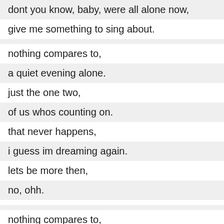dont you know, baby, were all alone now,
give me something to sing about.
nothing compares to,
a quiet evening alone.
just the one two,
of us whos counting on.
that never happens,
i guess im dreaming again.
lets be more then,
no, ohh.
nothing compares to,
a quiet evening alone.